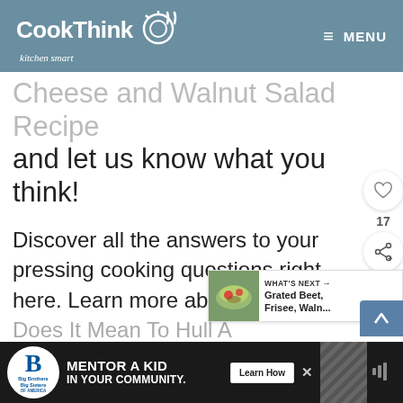CookThink kitchen smart — MENU
Cheese and Walnut Salad Recipe and let us know what you think!
Discover all the answers to your pressing cooking questions right here. Learn more about What Does It Mean To Hull A Strawberry? You will also want to check out the recipe we have for Grilled E…
[Figure (screenshot): WHAT'S NEXT arrow — Grated Beet, Frisee, Waln... with salad thumbnail]
[Figure (infographic): Ad banner: Big Brothers Big Sisters — MENTOR A KID IN YOUR COMMUNITY. Learn How button]